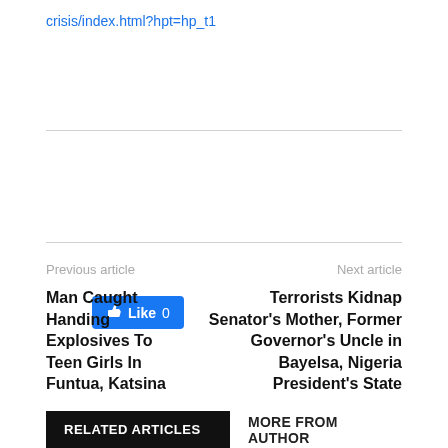crisis/index.html?hpt=hp_t1
[Figure (other): Facebook Like button showing 0 likes]
Previous article
Next article
Man Caught Handing Explosives To Teen Girls In Funtua, Katsina
Terrorists Kidnap Senator's Mother, Former Governor's Uncle in Bayelsa, Nigeria President's State
RELATED ARTICLES
MORE FROM AUTHOR